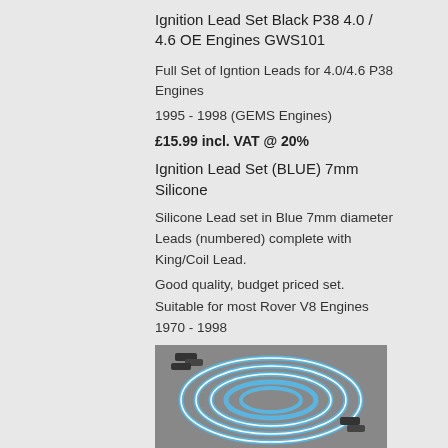Ignition Lead Set Black P38 4.0 / 4.6 OE Engines GWS101
Full Set of Igntion Leads for 4.0/4.6 P38 Engines
1995 - 1998 (GEMS Engines)
£15.99 incl. VAT @ 20%
Ignition Lead Set (BLUE) 7mm Silicone
Silicone Lead set in Blue 7mm diameter Leads (numbered) complete with King/Coil Lead.
Good quality, budget priced set.
Suitable for most Rover V8 Engines 1970 - 1998
[Figure (photo): Blue silicone ignition lead set coiled together, showing numbered leads and connectors]